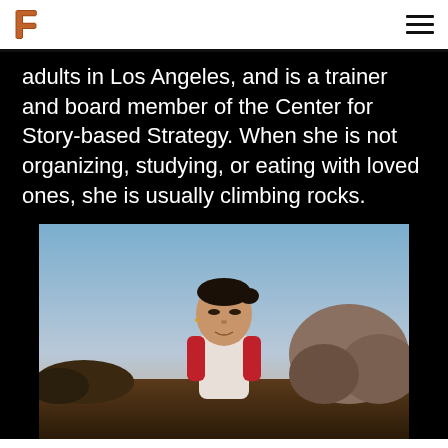F (logo) | hamburger menu
adults in Los Angeles, and is a trainer and board member of the Center for Story-based Strategy. When she is not organizing, studying, or eating with loved ones, she is usually climbing rocks.
[Figure (photo): A young woman with dark hair pulled back, wearing a white and red baseball-style shirt, standing outdoors at dusk/golden hour with rock formations and dry brush in the background and a gradient blue-to-orange sky.]